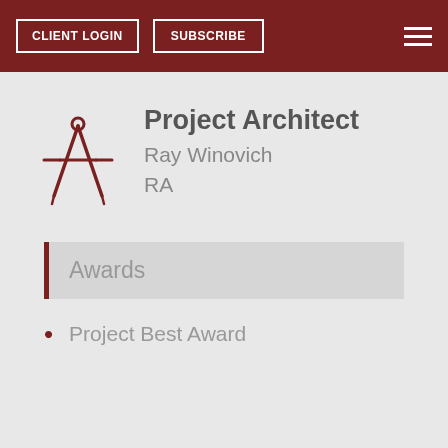CLIENT LOGIN  SUBSCRIBE
[Figure (illustration): Architect compass/drafting compass icon in dark red]
Project Architect
Ray Winovich
RA
Awards
Project Best Award